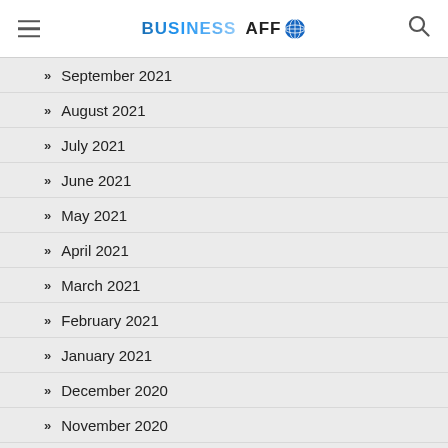BUSINESS AFFO
September 2021
August 2021
July 2021
June 2021
May 2021
April 2021
March 2021
February 2021
January 2021
December 2020
November 2020
October 2020